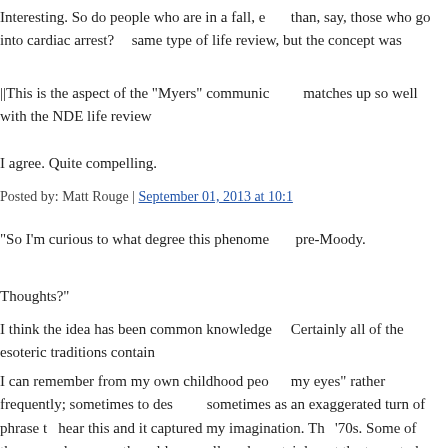Interesting. So do people who are in a fall, e... than, say, those who go into cardiac arrest? C... same type of life review, but the concept was...
||This is the aspect of the "Myers" communic... matches up so well with the NDE life review...
I agree. Quite compelling.
Posted by: Matt Rouge | September 01, 2013 at 10:1...
"So I'm curious to what degree this phenome... pre-Moody.
Thoughts?"
I think the idea has been common knowledge... Certainly all of the esoteric traditions contain...
I can remember from my own childhood peo... my eyes" rather frequently; sometimes to des... sometimes as an exaggerated turn of phrase t... hear this and it captured my imagination. Th... '70s. Some of these people were rather elder... well read - certainly not the types to have be...